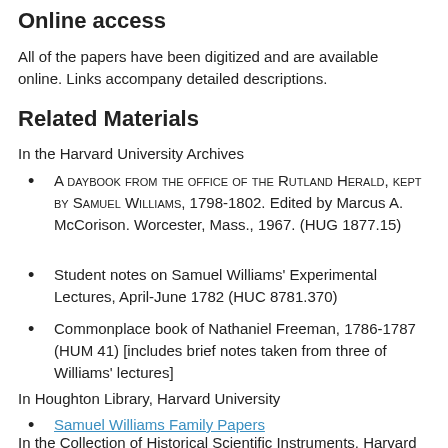Online access
All of the papers have been digitized and are available online. Links accompany detailed descriptions.
Related Materials
In the Harvard University Archives
A daybook from the office of the Rutland Herald, kept by Samuel Williams, 1798-1802. Edited by Marcus A. McCorison. Worcester, Mass., 1967. (HUG 1877.15)
Student notes on Samuel Williams' Experimental Lectures, April-June 1782 (HUC 8781.370)
Commonplace book of Nathaniel Freeman, 1786-1787 (HUM 41) [includes brief notes taken from three of Williams' lectures]
In Houghton Library, Harvard University
Samuel Williams Family Papers
In the Collection of Historical Scientific Instruments, Harvard University